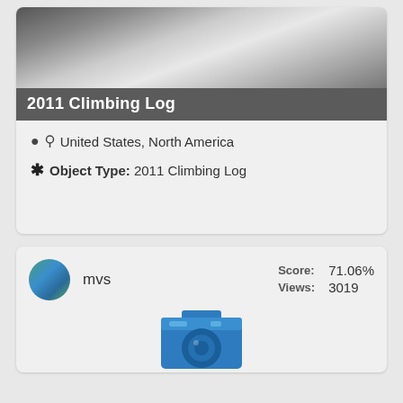[Figure (photo): Black and white mountain/snow landscape photo at the top of a card]
2011 Climbing Log
United States, North America
Object Type: 2011 Climbing Log
mvs  Score: 71.06%  Views: 3019
[Figure (illustration): Blue camera icon illustration]